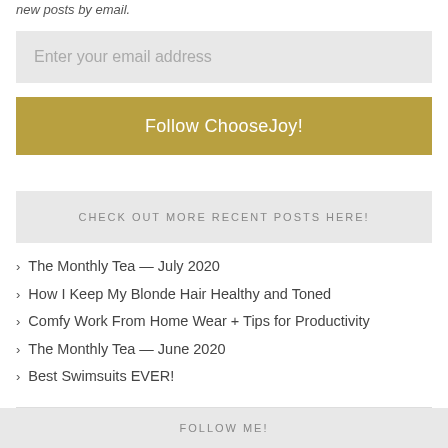new posts by email.
Enter your email address
Follow ChooseJoy!
CHECK OUT MORE RECENT POSTS HERE!
The Monthly Tea — July 2020
How I Keep My Blonde Hair Healthy and Toned
Comfy Work From Home Wear + Tips for Productivity
The Monthly Tea — June 2020
Best Swimsuits EVER!
FOLLOW ME!